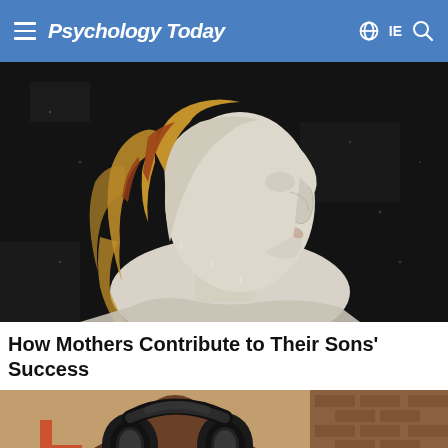Psychology Today
[Figure (photo): Ancient fresco painting showing profile of a figure in white against a dark background, with golden decorative elements]
How Mothers Contribute to Their Sons' Success
[Figure (photo): Person wearing large black headphones in a cafe or gym setting with brick walls]